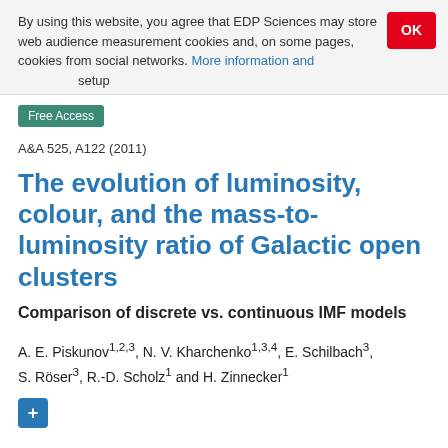By using this website, you agree that EDP Sciences may store web audience measurement cookies and, on some pages, cookies from social networks. More information and setup
Free Access
A&A 525, A122 (2011)
The evolution of luminosity, colour, and the mass-to-luminosity ratio of Galactic open clusters
Comparison of discrete vs. continuous IMF models
A. E. Piskunov1,2,3, N. V. Kharchenko1,3,4, E. Schilbach3, S. Röser3, R.-D. Scholz1 and H. Zinnecker1